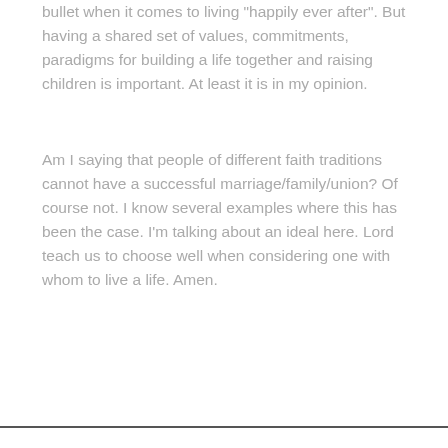bullet when it comes to living "happily ever after". But having a shared set of values, commitments, paradigms for building a life together and raising children is important. At least it is in my opinion.
Am I saying that people of different faith traditions cannot have a successful marriage/family/union? Of course not. I know several examples where this has been the case. I'm talking about an ideal here. Lord teach us to choose well when considering one with whom to live a life. Amen.